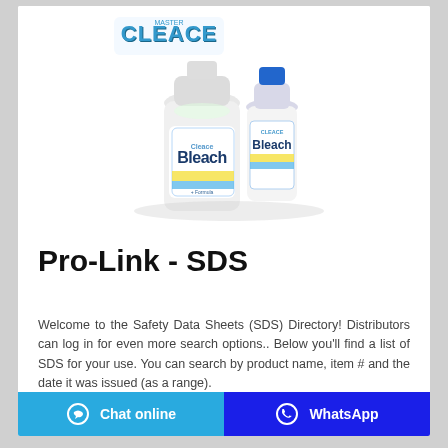[Figure (photo): Two bottles of Cleace Bleach cleaning product — a larger white bottle and a smaller white bottle with blue cap, with the Cleace logo above]
Pro-Link - SDS
Welcome to the Safety Data Sheets (SDS) Directory! Distributors can log in for even more search options.. Below you'll find a list of SDS for your use. You can search by product name, item # and the date it was issued (as a range).
Chat online   WhatsApp